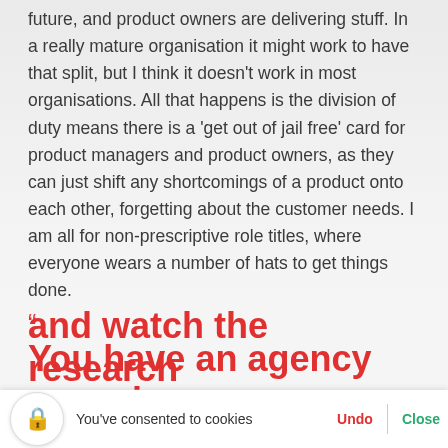future, and product owners are delivering stuff. In a really mature organisation it might work to have that split, but I think it doesn't work in most organisations. All that happens is the division of duty means there is a 'get out of jail free' card for product managers and product owners, as they can just shift any shortcomings of a product onto each other, forgetting about the customer needs. I am all for non-prescriptive role titles, where everyone wears a number of hats to get things done.
" You have an agency come in and watch the research
You've consented to cookies   Undo   Close